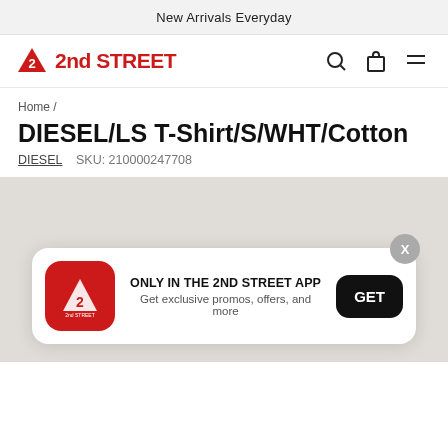New Arrivals Everyday
[Figure (logo): 2nd STREET logo with red triangle icon and red bold text '2nd STREET', with search, bag, and menu icons on the right]
Home /
DIESEL/LS T-Shirt/S/WHT/Cotton
DIESEL   SKU: 210000247708
[Figure (infographic): App promotion card: 2nd STREET app icon on left, text 'ONLY IN THE 2ND STREET APP / Get exclusive promos, offers, and more', GET button on right, X close button top right]